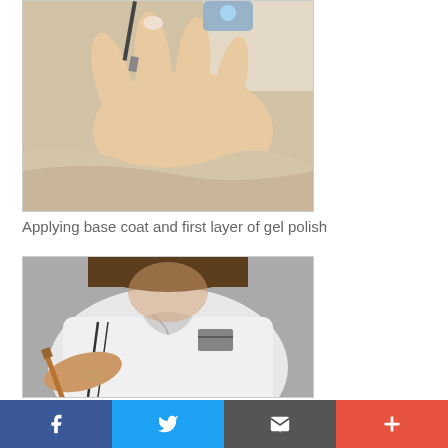[Figure (photo): Close-up of hands receiving nail treatment - applying base coat and gel polish with a brush, hand resting on a towel]
Applying base coat and first layer of gel polish
[Figure (photo): Person in white uniform working on nails with a brush, wearing a bracelet, writing or applying nail art]
Facebook Twitter Email More